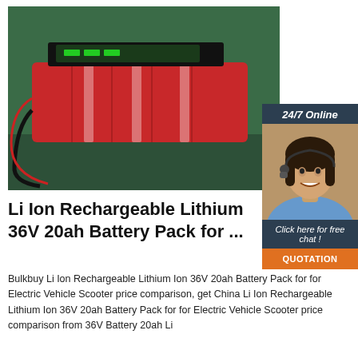[Figure (photo): Photo of red cylindrical lithium ion battery cells bundled together with a black cable, placed on a green surface. A BMS circuit board is visible on top.]
[Figure (illustration): 24/7 Online chat widget with a smiling woman wearing a headset, dark blue background, 'Click here for free chat!' text, and an orange QUOTATION button.]
Li Ion Rechargeable Lithium 36V 20ah Battery Pack for ...
Bulkbuy Li Ion Rechargeable Lithium Ion 36V 20ah Battery Pack for for Electric Vehicle Scooter price comparison, get China Li Ion Rechargeable Lithium Ion 36V 20ah Battery Pack for for Electric Vehicle Scooter price comparison from 36V Battery 20ah Li